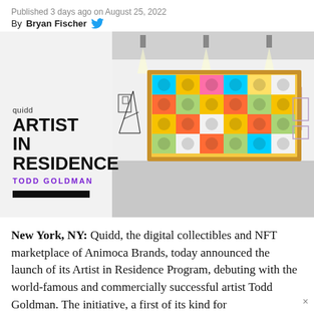Published 3 days ago on August 25, 2022
By Bryan Fischer
[Figure (photo): Gallery image showing a Quidd Artist in Residence artwork — a large framed grid of cartoon animal characters in a white gallery space. Left panel shows 'quidd ARTIST in RESIDENCE' with 'TODD GOLDMAN' in purple.]
New York, NY: Quidd, the digital collectibles and NFT marketplace of Animoca Brands, today announced the launch of its Artist in Residence Program, debuting with the world-famous and commercially successful artist Todd Goldman. The initiative, a first of its kind for...